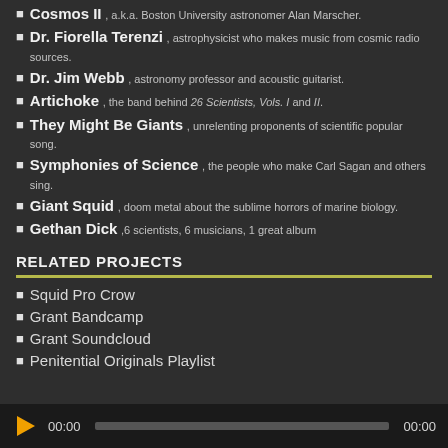Cosmos II, a.k.a. Boston University astronomer Alan Marscher.
Dr. Fiorella Terenzi, astrophysicist who makes music from cosmic radio sources.
Dr. Jim Webb, astronomy professor and acoustic guitarist.
Artichoke, the band behind 26 Scientists, Vols. I and II.
They Might Be Giants, unrelenting proponents of scientific popular song.
Symphonies of Science, the people who make Carl Sagan and others sing.
Giant Squid, doom metal about the sublime horrors of marine biology.
Gethan Dick, 6 scientists, 6 musicians, 1 great album
RELATED PROJECTS
Squid Pro Crow
Grant Bandcamp
Grant Soundcloud
Penitential Originals Playlist